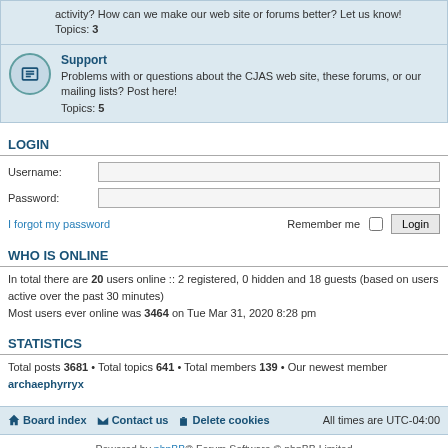activity? How can we make our web site or forums better? Let us know!
Topics: 3
Support
Problems with or questions about the CJAS web site, these forums, or our mailing lists? Post here!
Topics: 5
LOGIN
Username:
Password:
I forgot my password   Remember me  Login
WHO IS ONLINE
In total there are 20 users online :: 2 registered, 0 hidden and 18 guests (based on users active over the past 30 minutes)
Most users ever online was 3464 on Tue Mar 31, 2020 8:28 pm
STATISTICS
Total posts 3681 • Total topics 641 • Total members 139 • Our newest member archaephyrryx
Board index   Contact us   Delete cookies   All times are UTC-04:00
Powered by phpBB® Forum Software © phpBB Limited
Privacy | Terms